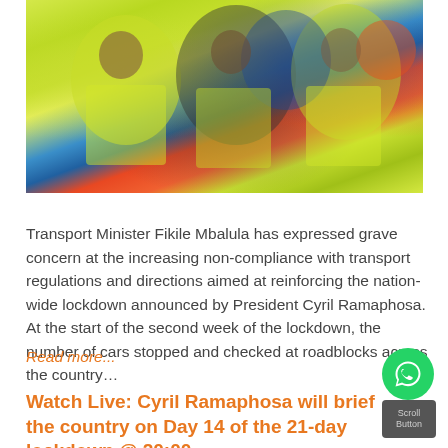[Figure (photo): People wearing bright yellow high-visibility vests, close-up group photo, orange and blue elements visible]
Transport Minister Fikile Mbalula has expressed grave concern at the increasing non-compliance with transport regulations and directions aimed at reinforcing the nation-wide lockdown announced by President Cyril Ramaphosa. At the start of the second week of the lockdown, the number of cars stopped and checked at roadblocks across the country…
Read more...
Watch Live: Cyril Ramaphosa will brief the country on Day 14 of the 21-day lockdown @ 20:00